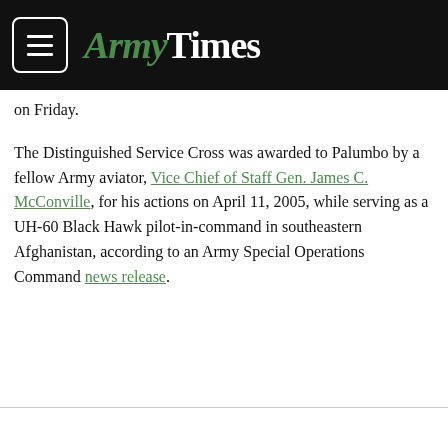ArmyTimes
on Friday.
The Distinguished Service Cross was awarded to Palumbo by a fellow Army aviator, Vice Chief of Staff Gen. James C. McConville, for his actions on April 11, 2005, while serving as a UH-60 Black Hawk pilot-in-command in southeastern Afghanistan, according to an Army Special Operations Command news release.